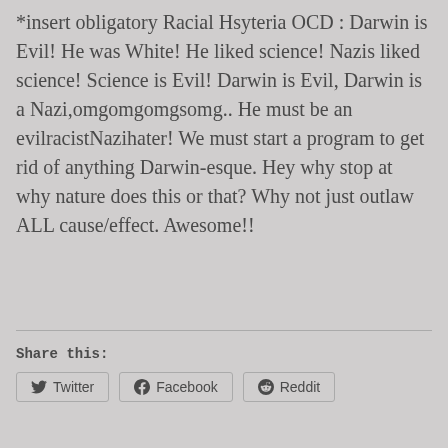*insert obligatory Racial Hsyteria OCD :  Darwin is Evil! He was White! He liked science! Nazis liked science! Science is Evil! Darwin is Evil, Darwin is a Nazi,omgomgomgsomg..  He must be an evilracistNazihater! We must start a program to get rid of anything Darwin-esque.  Hey why stop at why nature does this or that? Why not just outlaw ALL cause/effect. Awesome!!
Share this:
Twitter
Facebook
Reddit